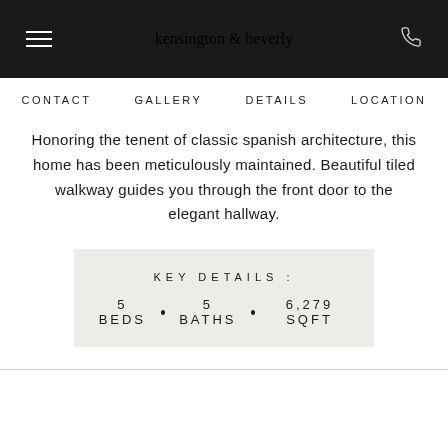kensington & beverly
CONTACT   GALLERY   DETAILS   LOCATION
Honoring the tenent of classic spanish architecture, this home has been meticulously maintained. Beautiful tiled walkway guides you through the front door to the elegant hallway.
KEY DETAILS:
5 BEDS • 5 BATHS • 6,279 SQFT